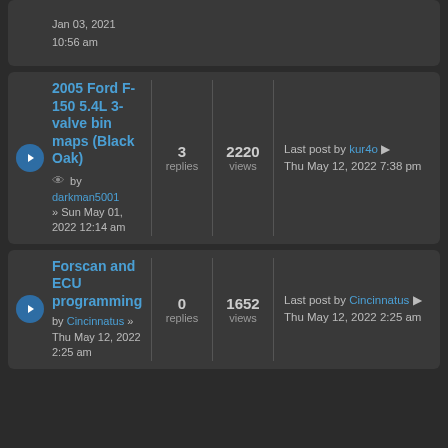Jan 03, 2021 10:56 am (partial row at top)
2005 Ford F-150 5.4L 3-valve bin maps (Black Oak) by darkman5001 » Sun May 01, 2022 12:14 am — 3 replies, 2220 views — Last post by kur4o Thu May 12, 2022 7:38 pm
Forscan and ECU programming by Cincinnatus » Thu May 12, 2022 2:25 am — 0 replies, 1652 views — Last post by Cincinnatus Thu May 12, 2022 2:25 am